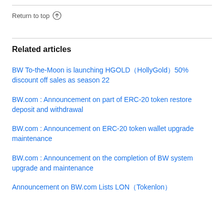Return to top ↑
Related articles
BW To-the-Moon is launching HGOLD（HollyGold）50% discount off sales as season 22
BW.com : Announcement on part of ERC-20 token restore deposit and withdrawal
BW.com : Announcement on ERC-20 token wallet upgrade maintenance
BW.com : Announcement on the completion of BW system upgrade and maintenance
Announcement on BW.com Lists LON（Tokenlon）